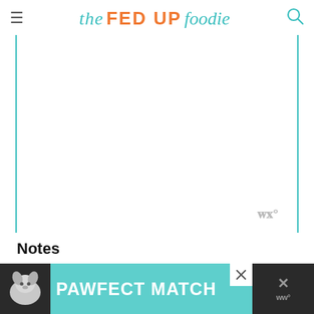the FED UP foodie
[Figure (other): Large blank white content area with teal vertical border lines on left and right sides, and a small watermark logo (ww°) in the lower right area]
Notes
*Please use as many organic ingredients as possible.*
[Figure (infographic): PAWFECT MATCH advertisement banner with dog image on dark background and teal background text]